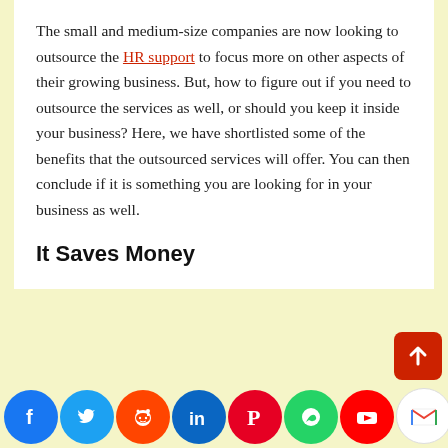The small and medium-size companies are now looking to outsource the HR support to focus more on other aspects of their growing business. But, how to figure out if you need to outsource the services as well, or should you keep it inside your business? Here, we have shortlisted some of the benefits that the outsourced services will offer. You can then conclude if it is something you are looking for in your business as well.
It Saves Money
[Figure (other): Social media sharing icons bar at the bottom: Facebook, Twitter, Reddit, LinkedIn, Pinterest, WhatsApp, YouTube, Gmail, Instagram, Messenger, Yahoo]